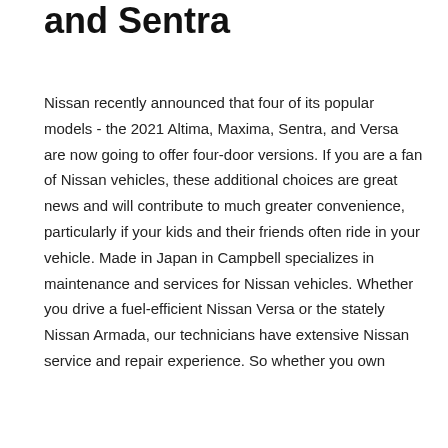and Sentra
Nissan recently announced that four of its popular models - the 2021 Altima, Maxima, Sentra, and Versa are now going to offer four-door versions. If you are a fan of Nissan vehicles, these additional choices are great news and will contribute to much greater convenience, particularly if your kids and their friends often ride in your vehicle. Made in Japan in Campbell specializes in maintenance and services for Nissan vehicles. Whether you drive a fuel-efficient Nissan Versa or the stately Nissan Armada, our technicians have extensive Nissan service and repair experience. So whether you own